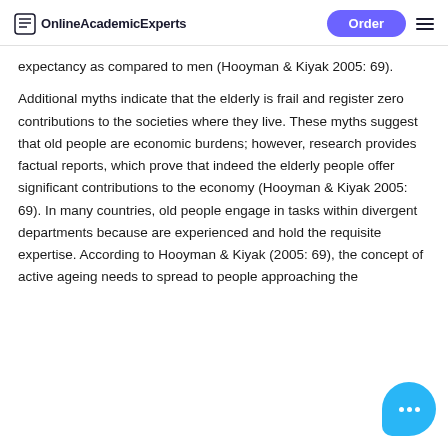OnlineAcademicExperts | Order
expectancy as compared to men (Hooyman & Kiyak 2005: 69).
Additional myths indicate that the elderly is frail and register zero contributions to the societies where they live. These myths suggest that old people are economic burdens; however, research provides factual reports, which prove that indeed the elderly people offer significant contributions to the economy (Hooyman & Kiyak 2005: 69). In many countries, old people engage in tasks within divergent departments because are experienced and hold the requisite expertise. According to Hooyman & Kiyak (2005: 69), the concept of active ageing needs to spread to people approaching the